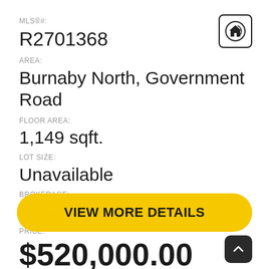MLS®#:
R2701368
AREA:
Burnaby North, Government Road
FLOOR AREA:
1,149 sqft.
LOT SIZE:
Unavailable
BROKERAGE:
Macdonald Realty
PRICE:
$520,000.00
VIEW MORE DETAILS